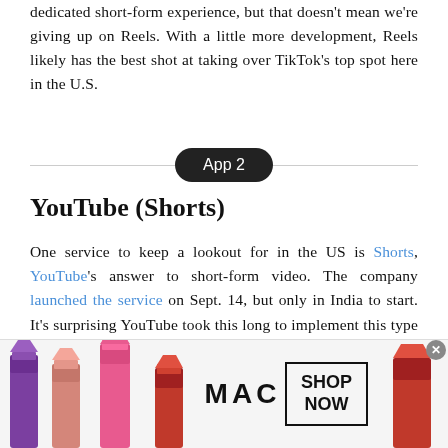dedicated short-form experience, but that doesn't mean we're giving up on Reels. With a little more development, Reels likely has the best shot at taking over TikTok's top spot here in the U.S.
App 2
YouTube (Shorts)
One service to keep a lookout for in the US is Shorts, YouTube's answer to short-form video. The company launched the service on Sept. 14, but only in India to start. It's surprising YouTube took this long to implement this type of feature. After all, the site is both the grandfather and the king of self-produced internet video. In fact, it's the best place to find old Vines to binge if you're so inclined.
[Figure (photo): MAC cosmetics advertisement banner showing lipsticks in purple, pink, and red colors with MAC logo and SHOP NOW button]